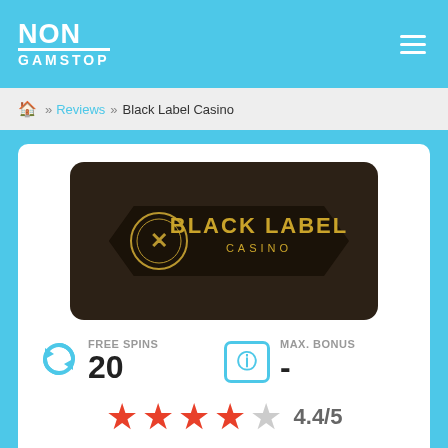NON GAMSTOP
Home » Reviews » Black Label Casino
[Figure (logo): Black Label Casino logo on dark brown rounded rectangle background with golden text and emblem]
FREE SPINS 20
MAX. BONUS -
4.4/5 stars rating
VISIT NOW